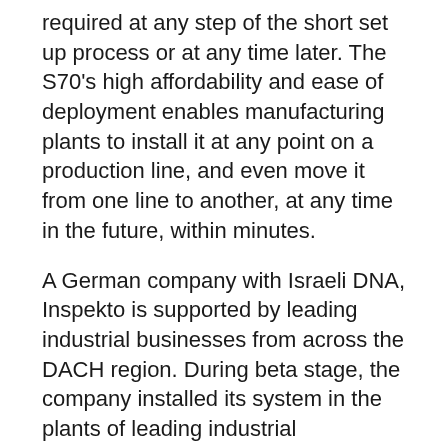required at any step of the short set up process or at any time later. The S70's high affordability and ease of deployment enables manufacturing plants to install it at any point on a production line, and even move it from one line to another, at any time in the future, within minutes.
A German company with Israeli DNA, Inspekto is supported by leading industrial businesses from across the DACH region. During beta stage, the company installed its system in the plants of leading industrial manufacturers, in countries including Germany, Italy, France and Austria. The S70 will deliver market changing benefits to manufacturers with a yearly total available market exceeding $30 billion.
“The S70 is a world first – defining the Autonomous Machine Vision category and introducing the inaugural Plug and InspectTM technology for the modern shop floor environment,” explained Harel Boren, CEO and co-founder of Inspekto. “Because of the S70’s affordability and simplicity, the digital factory is now a reality, allowing realisation of the return on investment that